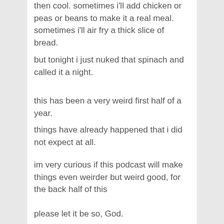then cool. sometimes i'll add chicken or peas or beans to make it a real meal. sometimes i'll air fry a thick slice of bread.
but tonight i just nuked that spinach and called it a night.
this has been a very weird first half of a year.
things have already happened that i did not expect at all.
im very curious if this podcast will make things even weirder but weird good, for the back half of this
please let it be so, God.